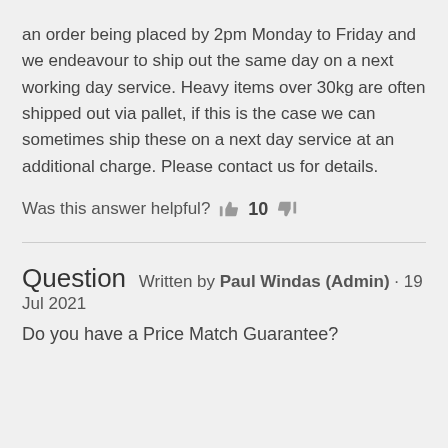an order being placed by 2pm Monday to Friday and we endeavour to ship out the same day on a next working day service. Heavy items over 30kg are often shipped out via pallet, if this is the case we can sometimes ship these on a next day service at an additional charge. Please contact us for details.
Was this answer helpful? 10
Question Written by Paul Windas (Admin) · 19 Jul 2021
Do you have a Price Match Guarantee?